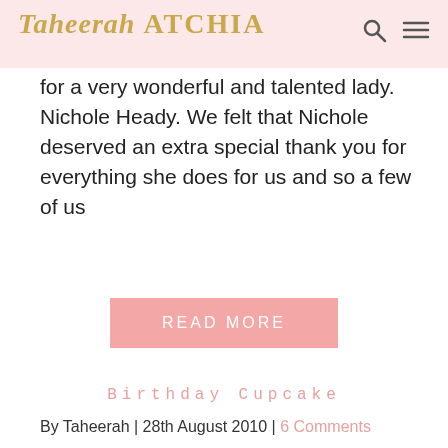Taheerah ATCHIA
for a very wonderful and talented lady. Nichole Heady. We felt that Nichole deserved an extra special thank you for everything she does for us and so a few of us
READ MORE
Birthday Cupcake
By Taheerah | 28th August 2010 | 6 Comments
[Figure (photo): Birthday card with pink patterned background and a white embossed card featuring a cupcake design, with a 'Happy Birthday' tag label in ticket style]